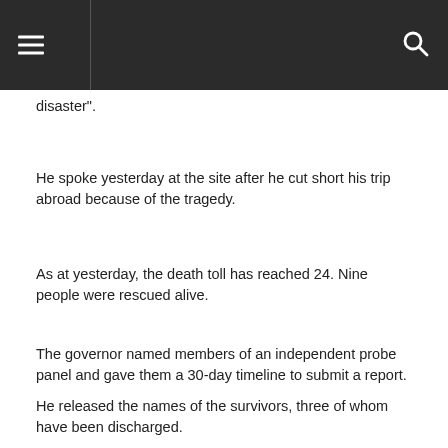☰ 🔍
disaster”.
He spoke yesterday at the site after he cut short his trip abroad because of the tragedy.
As at yesterday, the death toll has reached 24. Nine people were rescued alive.
The governor named members of an independent probe panel and gave them a 30-day timeline to submit a report.
He released the names of the survivors, three of whom have been discharged.